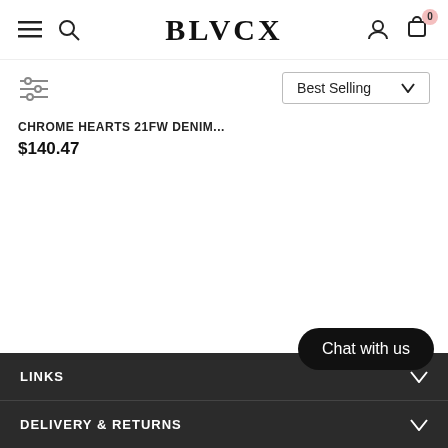BLVCX
Best Selling
CHROME HEARTS 21FW DENIM...
$140.47
LINKS
DELIVERY & RETURNS
Chat with us